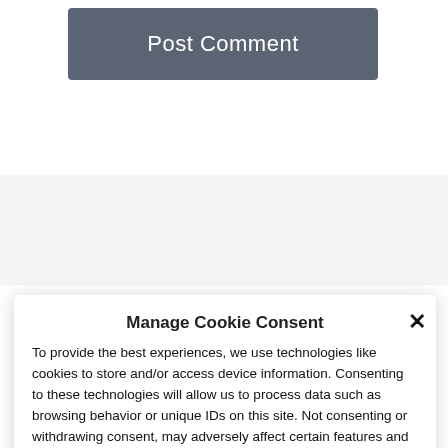[Figure (screenshot): A gray button labeled 'Post Comment' on a white background]
Manage Cookie Consent
To provide the best experiences, we use technologies like cookies to store and/or access device information. Consenting to these technologies will allow us to process data such as browsing behavior or unique IDs on this site. Not consenting or withdrawing consent, may adversely affect certain features and functions.
Accept
Cookie Policy